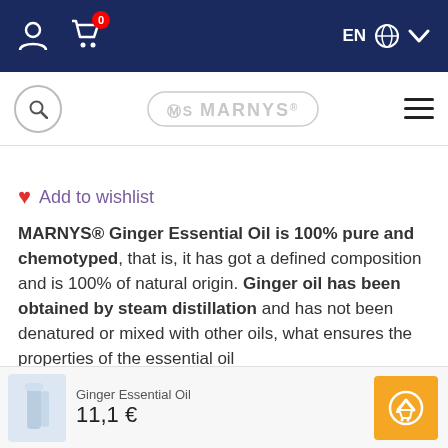EN  (navigation bar with user icon, cart icon with 0, language selector EN, chevron)
[Figure (logo): MARNYS® brand logo with search icon on left and hamburger menu on right]
♥ Add to wishlist
MARNYS® Ginger Essential Oil is 100% pure and chemotyped, that is, it has got a defined composition and is 100% of natural origin. Ginger oil has been obtained by steam distillation and has not been denatured or mixed with other oils, what ensures the properties of the essential oil
Ginger Essential Oil  11,1 €